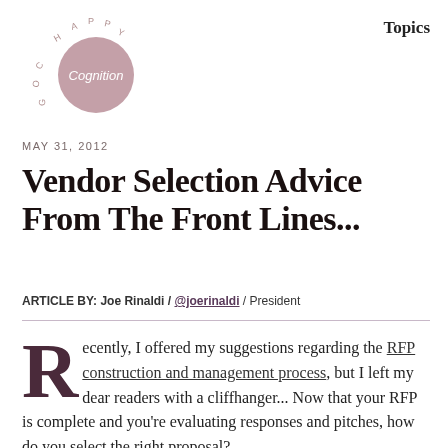[Figure (logo): Happy Cog logo with circular letter arrangement and 'Cognition' text in a mauve circle]
Topics
MAY 31, 2012
Vendor Selection Advice From The Front Lines...
ARTICLE BY: Joe Rinaldi / @joerinaldi / President
Recently, I offered my suggestions regarding the RFP construction and management process, but I left my dear readers with a cliffhanger... Now that your RFP is complete and you're evaluating responses and pitches, how do you select the right proposal?